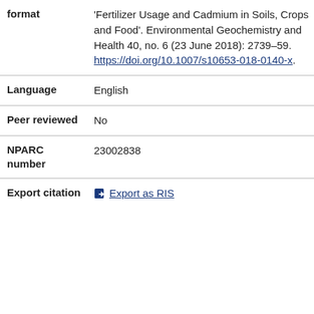| Field | Value |
| --- | --- |
| format | 'Fertilizer Usage and Cadmium in Soils, Crops and Food'. Environmental Geochemistry and Health 40, no. 6 (23 June 2018): 2739–59. https://doi.org/10.1007/s10653-018-0140-x. |
| Language | English |
| Peer reviewed | No |
| NPARC number | 23002838 |
| Export citation | Export as RIS |